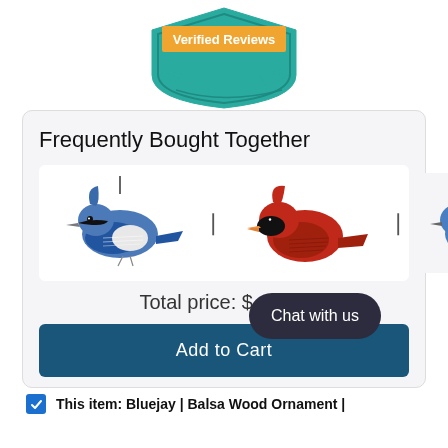[Figure (logo): Verified Reviews badge with teal shield shape, orange banner reading 'Verified Reviews', and laurel wreath decorations]
Frequently Bought Together
[Figure (photo): Three bird ornaments side by side: a blue jay on left, a red cardinal in the middle, and a blue bluebird on the right, separated by plus signs]
Total price: $ 47.90
Add to Cart
Chat with us
This item: Bluejay | Balsa Wood Ornament |